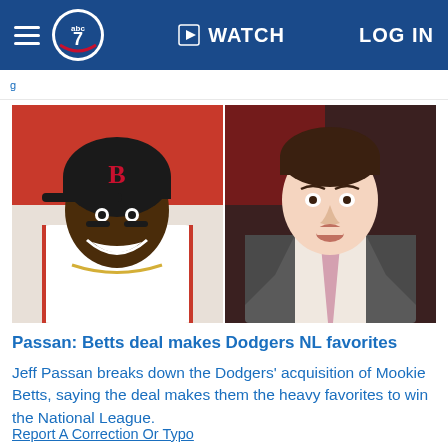ABC7 — WATCH — LOG IN
[Figure (photo): Left: Mookie Betts smiling in Boston Red Sox batting helmet and white uniform. Right: Jeff Passan in a gray suit with pink tie on a broadcast set.]
Passan: Betts deal makes Dodgers NL favorites
Jeff Passan breaks down the Dodgers' acquisition of Mookie Betts, saying the deal makes them the heavy favorites to win the National League.
Report A Correction Or Typo